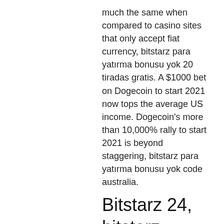much the same when compared to casino sites that only accept fiat currency, bitstarz para yatırma bonusu yok 20 tiradas gratis. A $1000 bet on Dogecoin to start 2021 now tops the average US income. Dogecoin's more than 10,000% rally to start 2021 is beyond staggering, bitstarz para yatırma bonusu yok code australia.
Bitstarz 24, bitstarz casino промокод
The prizes are awarded according to a tiered system and vary from one question to the next, bitstarz para yatırma bonusu yok 20 tours gratuits. In addition, you can choose between daily, weekly and monthly awards. The minimum balance for withdrawal is 11,000 satoshis and payments are processed at the end of every week. A break-even martingale dice strategy looks like this: A player loses a 10m bet to roll